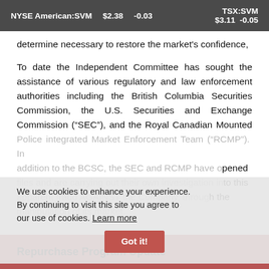NYSE American:SVM $2.38 -0.03    TSX:SVM $3.11 -0.05
determine necessary to restore the market’s confidence,
To date the Independent Committee has sought the assistance of various regulatory and law enforcement authorities including the British Columbia Securities Commission, the U.S. Securities and Exchange Commission (“SEC”), and the Royal Canadian Mounted Police integrated Market Enforcement Team (“RCMP”). In addition to the BCSC, the SEC and RCMP have opened files and are carrying out their own investigation into this apparent fraud AGAINST the Company, through the manipulation of its market.
We use cookies to enhance your experience. By continuing to visit this site you agree to our use of cookies. Learn more
Repurchase Program Update